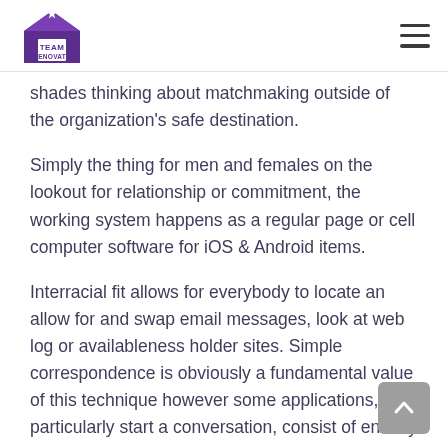Team Renovate [logo] [hamburger menu]
shades thinking about matchmaking outside of the organization's safe destination.
Simply the thing for men and females on the lookout for relationship or commitment, the working system happens as a regular page or cell computer software for iOS & Android items.
Interracial fit allows for everybody to locate an allow for and swap email messages, look at web log or availableness holder sites. Simple correspondence is obviously a fundamental value of this technique however some applications, particularly start a conversation, consist of entirely designed for high quality customers.